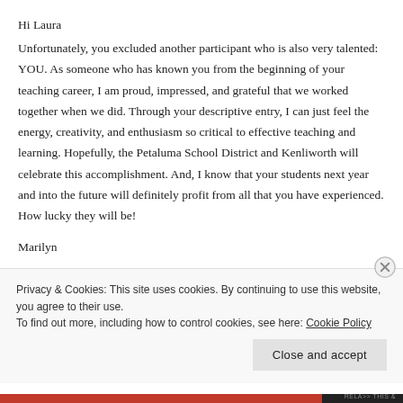Hi Laura
Unfortunately, you excluded another participant who is also very talented: YOU. As someone who has known you from the beginning of your teaching career, I am proud, impressed, and grateful that we worked together when we did. Through your descriptive entry, I can just feel the energy, creativity, and enthusiasm so critical to effective teaching and learning. Hopefully, the Petaluma School District and Kenliworth will celebrate this accomplishment. And, I know that your students next year and into the future will definitely profit from all that you have experienced. How lucky they will be!
Marilyn
Privacy & Cookies: This site uses cookies. By continuing to use this website, you agree to their use.
To find out more, including how to control cookies, see here: Cookie Policy